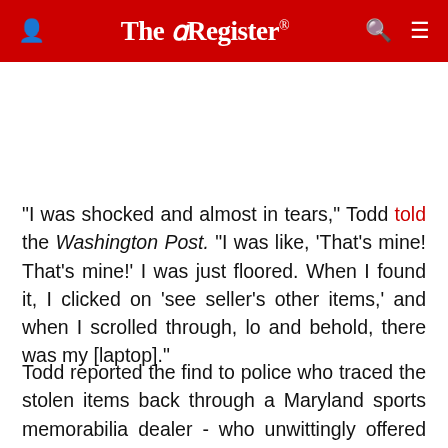The Register
"I was shocked and almost in tears," Todd told the Washington Post. "I was like, 'That's mine! That's mine!' I was just floored. When I found it, I clicked on 'see seller's other items,' and when I scrolled through, lo and behold, there was my [laptop]."
Todd reported the find to police who traced the stolen items back through a Maryland sports memorabilia dealer - who unwittingly offered several sets of stolen goods for sale - to Ibrahima Kalil Toure, 21, the